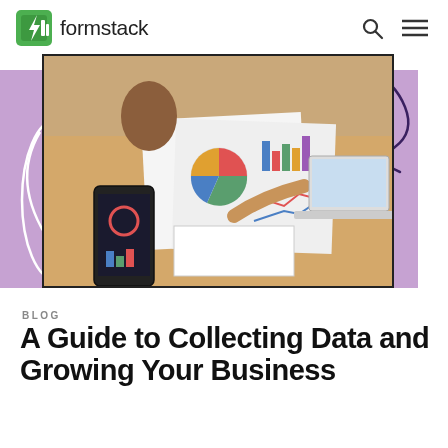formstack
[Figure (photo): Person sitting at desk reviewing data charts and reports on paper while holding a smartphone showing analytics. A laptop is open in the background. The background features purple decorative shapes with curved line decorations.]
BLOG
A Guide to Collecting Data and Growing Your Business